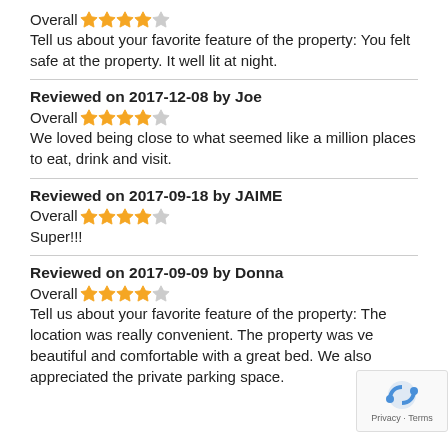Overall ★★★★☆
Tell us about your favorite feature of the property: You felt safe at the property. It well lit at night.
Reviewed on 2017-12-08 by Joe
Overall ★★★★☆
We loved being close to what seemed like a million places to eat, drink and visit.
Reviewed on 2017-09-18 by JAIME
Overall ★★★★☆
Super!!!
Reviewed on 2017-09-09 by Donna
Overall ★★★★☆
Tell us about your favorite feature of the property: The location was really convenient. The property was ve beautiful and comfortable with a great bed. We also appreciated the private parking space.